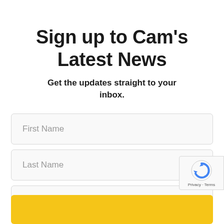Sign up to Cam's Latest News
Get the updates straight to your inbox.
First Name
Last Name
Email